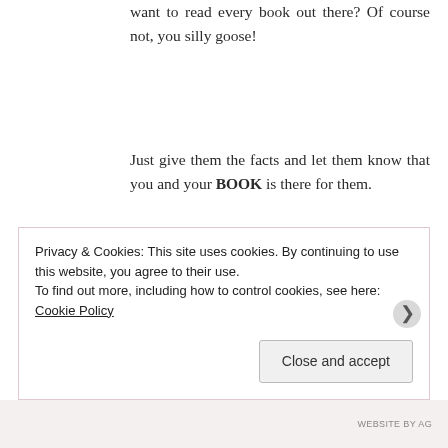want to read every book out there? Of course not, you silly goose!
Just give them the facts and let them know that you and your BOOK is there for them.
The publishing industry is a multi-faceted empire that offers such diversity and wonder. It shouldn't be traumatic or stressful for anyone, not reader, not authors. BOOKS have two basic functions. Either to entertain or to educate. So let's not
Privacy & Cookies: This site uses cookies. By continuing to use this website, you agree to their use.
To find out more, including how to control cookies, see here: Cookie Policy
Close and accept